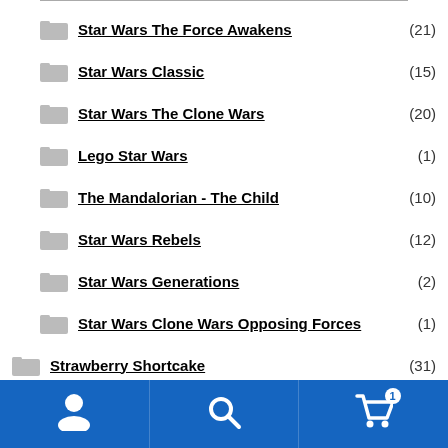Star Wars The Force Awakens (21)
Star Wars Classic (15)
Star Wars The Clone Wars (20)
Lego Star Wars (1)
The Mandalorian - The Child (10)
Star Wars Rebels (12)
Star Wars Generations (2)
Star Wars Clone Wars Opposing Forces (1)
Strawberry Shortcake (31)
Super Mario Bros Nintendo (26)
Teenage Mutant Ninja Turtles (54)